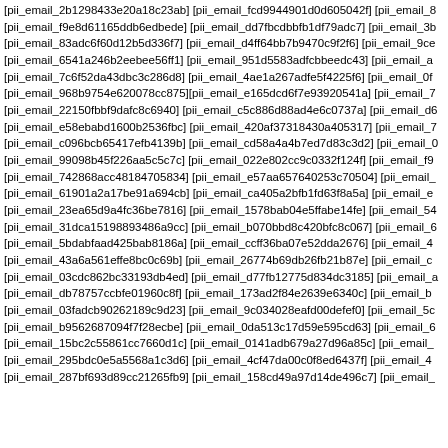[pii_email_2b1298433e20a18c23ab] [pii_email_fcd9944901d0d605042f] [pii_email_8...
[pii_email_f9e8d61165ddb6edbede] [pii_email_dd7fbcdbbfb1df79adc7] [pii_email_3b...
[pii_email_83adc6f60d12b5d336f7] [pii_email_d4ff64bb7b9470c9f2f6] [pii_email_9ce...
[pii_email_6541a246b2eebee56ff1] [pii_email_951d5583adfcbbeedc43] [pii_email_a...
[pii_email_7c6f52da43dbc3c286d8] [pii_email_4ae1a267adfe5f4225f6] [pii_email_0f...
[pii_email_968b9754e620078cc875][pii_email_e165dcd6f7e93920541a] [pii_email_7...
[pii_email_22150fbbf9dafc8c6940] [pii_email_c5c886d88ad4e6c0737a] [pii_email_d6...
[pii_email_e58ebabd1600b2536fbc] [pii_email_420af37318430a405317] [pii_email_7...
[pii_email_c096bcb65417efb4139b] [pii_email_cd58a4a4b7ed7d83c3d2] [pii_email_0...
[pii_email_99098b45f226aa5c5c7c] [pii_email_022e802cc9c0332f124f] [pii_email_f9...
[pii_email_742868acc48184705834] [pii_email_e57aa657640253c70504] [pii_email_...
[pii_email_61901a2a17be91a694cb] [pii_email_ca405a2bfb1fd63f8a5a] [pii_email_e...
[pii_email_23ea65d9a4fc36be7816] [pii_email_1578bab04e5ffabe14fe] [pii_email_54...
[pii_email_31dca15198893486a9cc] [pii_email_b070bbd8c420bfc8c067] [pii_email_6...
[pii_email_5bdabfaad425bab8186a] [pii_email_ccff36ba07e52dda2676] [pii_email_4...
[pii_email_43a6a561effe8bc0c69b] [pii_email_26774b69db26fb21b87e] [pii_email_c...
[pii_email_03cdc862bc33193db4ed] [pii_email_d77fb12775d834dc3185] [pii_email_a...
[pii_email_db78757ccbfe01960c8f] [pii_email_173ad2f84e2639e6340c] [pii_email_b...
[pii_email_03fadcb90262189c9d23] [pii_email_9c034028eafd00defef0] [pii_email_5c...
[pii_email_b9562687094f7f28ecbe] [pii_email_0da513c17d59e595cd63] [pii_email_6...
[pii_email_15bc2c55861cc7660d1c] [pii_email_0141adb679a27d96a85c] [pii_email_...
[pii_email_295bdc0e5a5568a1c3d6] [pii_email_4cf47da00c0f8ed6437f] [pii_email_4...
[pii_email_287bf693d89cc21265fb9] [pii_email_158cd49a97d14de496c7] [pii_email_...